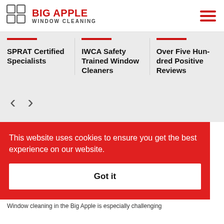[Figure (logo): Big Apple Window Cleaning logo with grid icon and red text]
SPRAT Certified Specialists
IWCA Safety Trained Window Cleaners
Over Five Hundred Positive Reviews
This website uses cookies to ensure you get the best experience on our website.
Got it
Window cleaning in the Big Apple is especially challenging